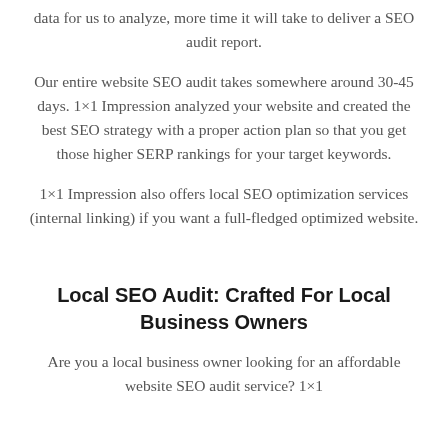data for us to analyze, more time it will take to deliver a SEO audit report.
Our entire website SEO audit takes somewhere around 30-45 days. 1×1 Impression analyzed your website and created the best SEO strategy with a proper action plan so that you get those higher SERP rankings for your target keywords.
1×1 Impression also offers local SEO optimization services (internal linking) if you want a full-fledged optimized website.
Local SEO Audit: Crafted For Local Business Owners
Are you a local business owner looking for an affordable website SEO audit service? 1×1